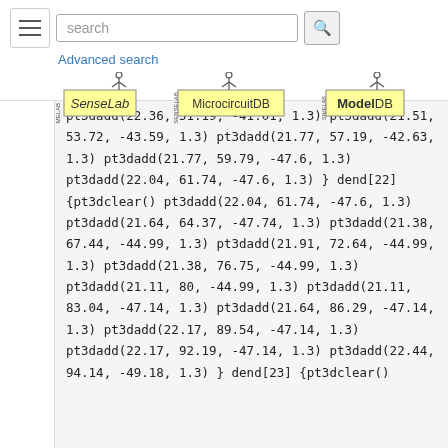search [search button] Advanced search
[Figure (logo): SenseLab logo]
[Figure (logo): MicrocircuitDB logo]
[Figure (logo): ModelDB logo]
pt3dadd(22.36, 51.19, -41.01, 1.3)
pt3dadd(21.51, 53.72, -43.59, 1.3)
pt3dadd(21.77, 57.19, -42.63, 1.3)
pt3dadd(21.77, 59.79, -47.6, 1.3)
pt3dadd(22.04, 61.74, -47.6, 1.3)
}
dend[22] {pt3dclear()
    pt3dadd(22.04, 61.74, -47.6, 1.3)
    pt3dadd(21.64, 64.37, -47.74, 1.3)
    pt3dadd(21.38, 67.44, -44.99, 1.3)
    pt3dadd(21.91, 72.64, -44.99, 1.3)
    pt3dadd(21.38, 76.75, -44.99, 1.3)
    pt3dadd(21.11, 80, -44.99, 1.3)
    pt3dadd(21.11, 83.04, -47.14, 1.3)
    pt3dadd(21.64, 86.29, -47.14, 1.3)
    pt3dadd(22.17, 89.54, -47.14, 1.3)
    pt3dadd(22.17, 92.19, -47.14, 1.3)
    pt3dadd(22.44, 94.14, -49.18, 1.3)
}
dend[23] {pt3dclear()